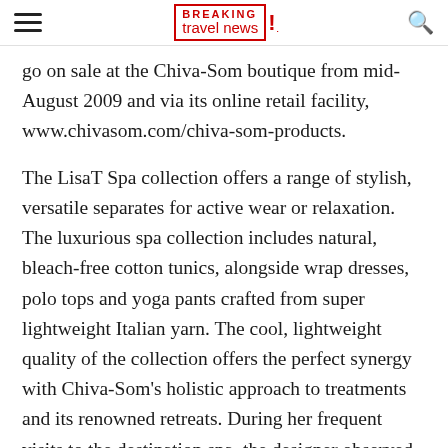Breaking Travel News
go on sale at the Chiva-Som boutique from mid-August 2009 and via its online retail facility, www.chivasom.com/chiva-som-products.
The LisaT Spa collection offers a range of stylish, versatile separates for active wear or relaxation. The luxurious spa collection includes natural, bleach-free cotton tunics, alongside wrap dresses, polo tops and yoga pants crafted from super lightweight Italian yarn. The cool, lightweight quality of the collection offers the perfect synergy with Chiva-Som's holistic approach to treatments and its renowned retreats. During her frequent visits to the destination spa, the designer observed the daily activities of guests, including yoga, pilates and Tai Chi, and thus carefully selected the range of garments for Chiva-Som.